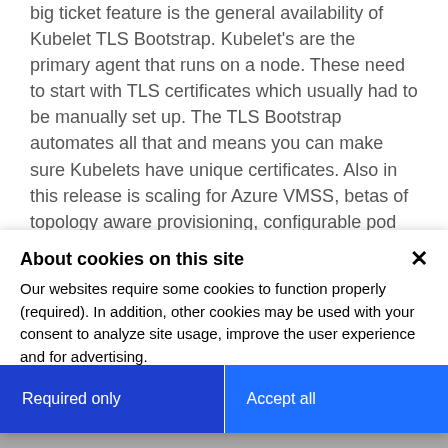big ticket feature is the general availability of Kubelet TLS Bootstrap. Kubelet's are the primary agent that runs on a node. These need to start with TLS certificates which usually had to be manually set up. The TLS Bootstrap automates all that and means you can make sure Kubelets have unique certificates. Also in this release is scaling for Azure VMSS, betas of topology aware provisioning, configurable pod process naming, taint
About cookies on this site
Our websites require some cookies to function properly (required). In addition, other cookies may be used with your consent to analyze site usage, improve the user experience and for advertising.
For more information, please review your Cookie preferences options and IBM's privacy
Required only
Accept all